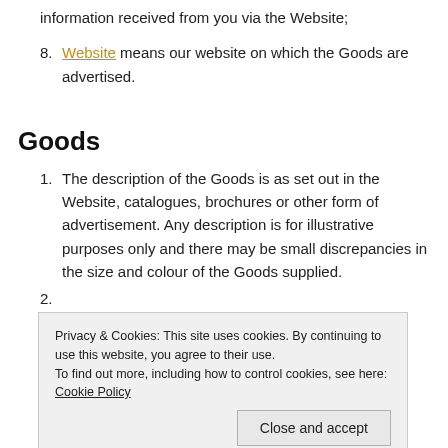information received from you via the Website;
8. Website means our website on which the Goods are advertised.
Goods
1. The description of the Goods is as set out in the Website, catalogues, brochures or other form of advertisement. Any description is for illustrative purposes only and there may be small discrepancies in the size and colour of the Goods supplied.
2. [partial text cut off]
Privacy & Cookies: This site uses cookies. By continuing to use this website, you agree to their use. To find out more, including how to control cookies, see here: Cookie Policy
to availability.